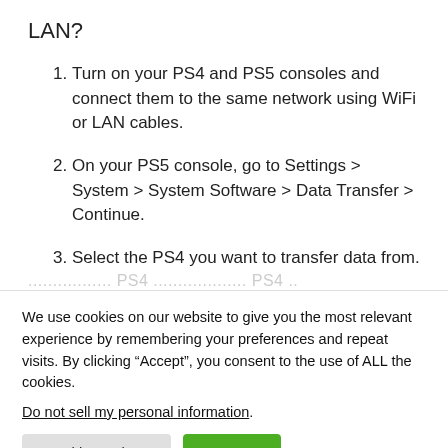LAN?
Turn on your PS4 and PS5 consoles and connect them to the same network using WiFi or LAN cables.
On your PS5 console, go to Settings > System > System Software > Data Transfer > Continue.
Select the PS4 you want to transfer data from.
We use cookies on our website to give you the most relevant experience by remembering your preferences and repeat visits. By clicking “Accept”, you consent to the use of ALL the cookies.
Do not sell my personal information.